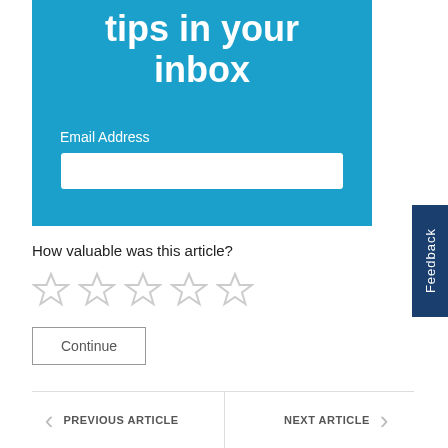[Figure (screenshot): Blue banner with text 'tips in your inbox', an Email Address label, and a white input field for email entry]
[Figure (screenshot): Blue vertical Feedback tab on the right side]
How valuable was this article?
[Figure (other): Five empty star rating icons]
Continue
PREVIOUS ARTICLE
NEXT ARTICLE